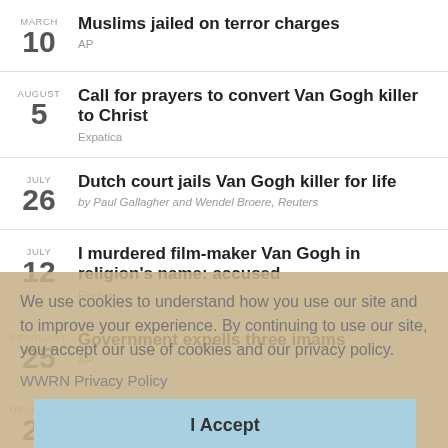MARCH 10 — Muslims jailed on terror charges — AP
AUGUST 5 — Call for prayers to convert Van Gogh killer to Christ — Expatica
JULY 26 — Dutch court jails Van Gogh killer for life — by Paul Gallagher and Wendel Broere, Reuters
JULY 12 — I murdered film-maker Van Gogh in religion's name: accused — Reuters
FEBRUARY 25 — Government expells three imams — AP
DECEMBER 23 — Dutch eye 'born-again' Muslim threat — by Emma Thomasson, Reuters
We use cookies to understand how you use our site and to improve your experience. By continuing to use our site, you accept our use of cookies and our privacy policy.
WWRN Privacy Policy
I Accept